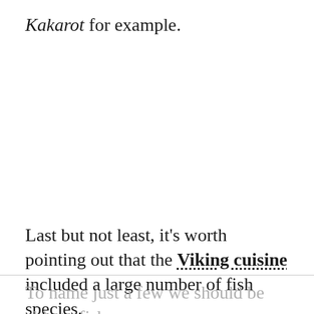Kakarot for example.
Last but not least, it's worth pointing out that the Viking cuisine included a large number of fish species.
To name just a few we should be able to fish